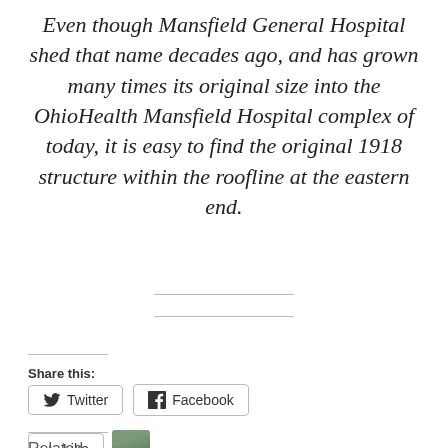Even though Mansfield General Hospital shed that name decades ago, and has grown many times its original size into the OhioHealth Mansfield Hospital complex of today, it is easy to find the original 1918 structure within the roofline at the eastern end.
Share this:
[Figure (other): Share buttons for Twitter and Facebook, and a Like button with a blogger avatar thumbnail. Text reads 'One blogger likes this.']
Related